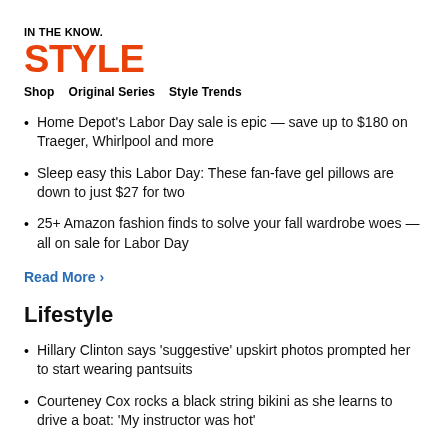IN THE KNOW.
STYLE
Shop   Original Series   Style Trends
Home Depot's Labor Day sale is epic — save up to $180 on Traeger, Whirlpool and more
Sleep easy this Labor Day: These fan-fave gel pillows are down to just $27 for two
25+ Amazon fashion finds to solve your fall wardrobe woes — all on sale for Labor Day
Read More ›
Lifestyle
Hillary Clinton says 'suggestive' upskirt photos prompted her to start wearing pantsuits
Courteney Cox rocks a black string bikini as she learns to drive a boat: 'My instructor was hot'